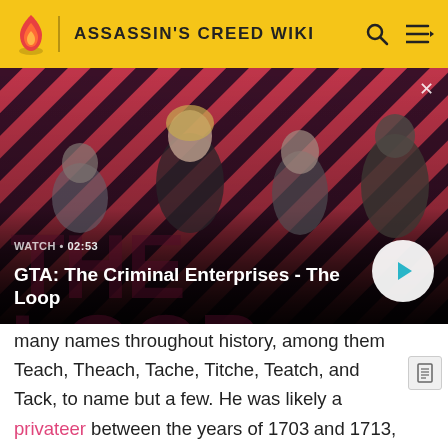ASSASSIN'S CREED WIKI
[Figure (screenshot): GTA: The Criminal Enterprises - The Loop video thumbnail with characters on diagonal striped background. WATCH • 02:53]
GTA: The Criminal Enterprises - The Loop
many names throughout history, among them Teach, Theach, Tache, Titche, Teatch, and Tack, to name but a few. He was likely a privateer between the years of 1703 and 1713, but once the Treaty of Utrecht restored peace between England and several European powers, Thatch